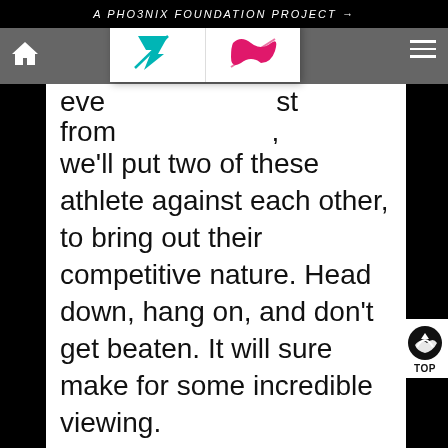A PHO3NIX FOUNDATION PROJECT →
[Figure (logo): Navigation bar with two sponsor logos — a teal/blue chevron-style logo on the left and a pink/magenta stylized figure-8 or infinity logo on the right, displayed on a white background panel]
we'll put two of these athlete against each other, to bring out their competitive nature. Head down, hang on, and don't get beaten. It will sure make for some incredible viewing.
The real limit here is the mind. The pain and suffering of this attempt will be like nothing else ever done, almost barbaric in its rawness and severity.
Alistair Brownlee is the greatest Olympic distance athlete of all time, and his arrival on the circuit reshaped the way athletes raced this distance…